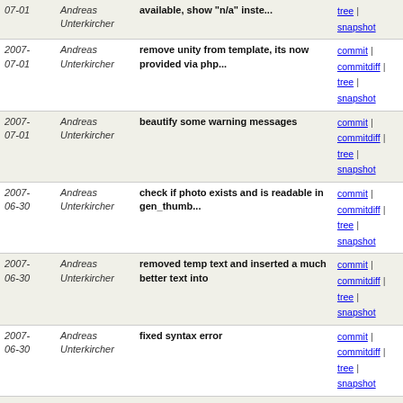| Date | Author | Message | Links |
| --- | --- | --- | --- |
| 07-01 | Andreas Unterkircher | available, show "n/a" inste... | commit | commitdiff | tree | snapshot |
| 2007-07-01 | Andreas Unterkircher | remove unity from template, its now provided via php... | commit | commitdiff | tree | snapshot |
| 2007-07-01 | Andreas Unterkircher | beautify some warning messages | commit | commitdiff | tree | snapshot |
| 2007-06-30 | Andreas Unterkircher | check if photo exists and is readable in gen_thumb... | commit | commitdiff | tree | snapshot |
| 2007-06-30 | Andreas Unterkircher | removed temp text and inserted a much better text into | commit | commitdiff | tree | snapshot |
| 2007-06-30 | Andreas Unterkircher | fixed syntax error | commit | commitdiff | tree | snapshot |
| 2007-06-30 | Andreas Unterkircher | make sure gen_thumbs can only be invoked from command... | commit | commitdiff | tree | snapshot |
| 2007-06-30 | Andreas Unterkircher | also display an little icon near the "pic is also liste... | commit | commitdiff | tree | snapshot |
| 2007-06-30 | Andreas Unterkircher | added a smaller version fo the available-tags icon... | commit | commitdiff | tree | snapshot |
| 2007-06-30 | Andreas Unterkircher | issue18, invoke clearSearch on reset | commit | commitdiff | tree | snapshot |
| 2007-06-30 | Andreas Unterkircher | issue15, check for compatible image type | commit | commitdiff | tree | snapshot |